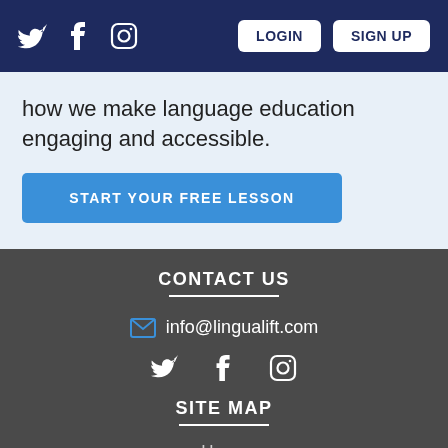Twitter, Facebook, Instagram icons | LOGIN | SIGN UP
how we make language education engaging and accessible.
START YOUR FREE LESSON
CONTACT US
info@lingualift.com
[Figure (other): Social media icons: Twitter, Facebook, Instagram in white]
SITE MAP
Home